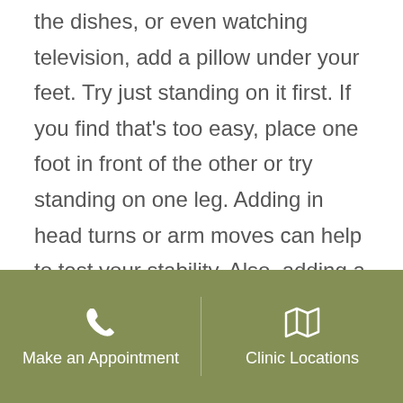the dishes, or even watching television, add a pillow under your feet. Try just standing on it first. If you find that's too easy, place one foot in front of the other or try standing on one leg. Adding in head turns or arm moves can help to test your stability. Also, adding a pillow or couch cushion to other exercises like squats, deadlift, lunges, pushup, all can help increase the intensity of the exercise while working on improving your balance and stability in the upper
Make an Appointment | Clinic Locations